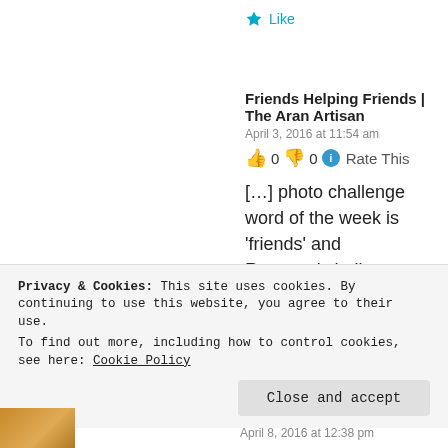★ Like
Friends Helping Friends | The Aran Artisan
April 3, 2016 at 11:54 am
👍 0 👎 0 ℹ Rate This
[…] photo challenge word of the week is 'friends' and Ronovan's haiku challenge words this week are 'friend & […]
★ Like
Privacy & Cookies: This site uses cookies. By continuing to use this website, you agree to their use. To find out more, including how to control cookies, see here: Cookie Policy
Close and accept
April 8, 2016 at 12:38 pm